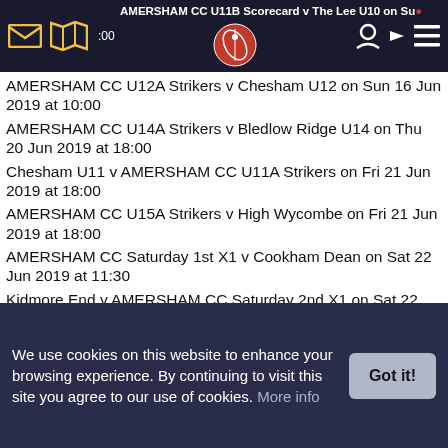AMERSHAM CC U11B Scorecard v The Lee U10 on Sun ... 00 | [nav icons]
AMERSHAM CC U12A Strikers v Chesham U12 on Sun 16 Jun 2019 at 10:00
AMERSHAM CC U14A Strikers v Bledlow Ridge U14 on Thu 20 Jun 2019 at 18:00
Chesham U11 v AMERSHAM CC U11A Strikers on Fri 21 Jun 2019 at 18:00
AMERSHAM CC U15A Strikers v High Wycombe on Fri 21 Jun 2019 at 18:00
AMERSHAM CC Saturday 1st X1 v Cookham Dean on Sat 22 Jun 2019 at 11:30
Kidmore End v AMERSHAM CC Saturday 2nd X1 on Sat 22 Jun 2019 at 13:00
AMERSHAM CC Saturday 3rd X1 v Ruislip on Sat 22 Jun 2019 at 13:00
NPL 3 v AMERSHAM CC Saturday 4th XI on Sat 22 Jun 2019 at 13:00
AMERSHAM CC Sunday 1st X1 v Cryptics on Sun 23 Jun 2019
We use cookies on this website to enhance your browsing experience. By continuing to visit this site you agree to our use of cookies. More info